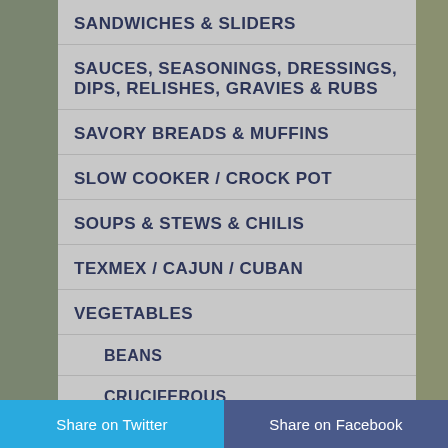SANDWICHES & SLIDERS
SAUCES, SEASONINGS, DRESSINGS, DIPS, RELISHES, GRAVIES & RUBS
SAVORY BREADS & MUFFINS
SLOW COOKER / CROCK POT
SOUPS & STEWS & CHILIS
TEXMEX / CAJUN / CUBAN
VEGETABLES
BEANS
CRUCIFEROUS
ROOT
Share on Twitter   Share on Facebook